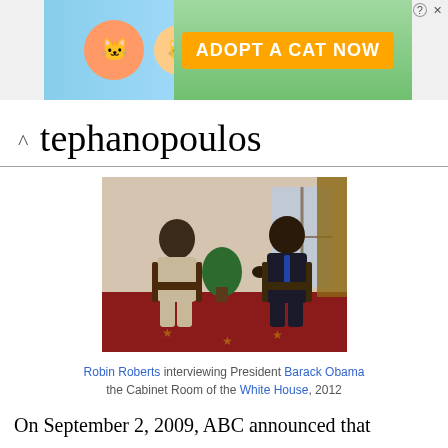[Figure (screenshot): Cat Game advertisement banner with cartoon cats and 'ADOPT A CAT NOW' orange button]
Stephanopoulos
[Figure (photo): Robin Roberts interviewing President Barack Obama in the Cabinet Room of the White House, 2012]
Robin Roberts interviewing President Barack Obama in the Cabinet Room of the White House, 2012
On September 2, 2009, ABC announced that